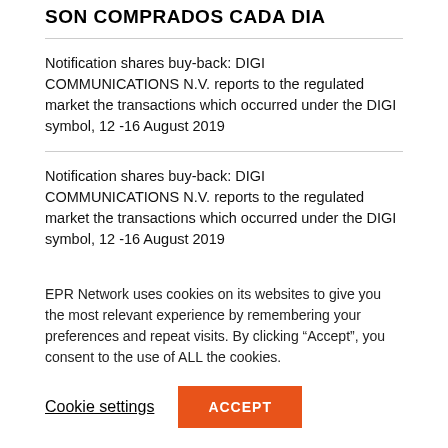SON COMPRADOS CADA DIA
Notification shares buy-back: DIGI COMMUNICATIONS N.V. reports to the regulated market the transactions which occurred under the DIGI symbol, 12 -16 August 2019
Notification shares buy-back: DIGI COMMUNICATIONS N.V. reports to the regulated market the transactions which occurred under the DIGI symbol, 12 -16 August 2019
XPAND K.K. will exhibit at the IFA 2019 as a Japanese cutting-edge IT company
EPR Network uses cookies on its websites to give you the most relevant experience by remembering your preferences and repeat visits. By clicking “Accept”, you consent to the use of ALL the cookies.
Cookie settings
ACCEPT